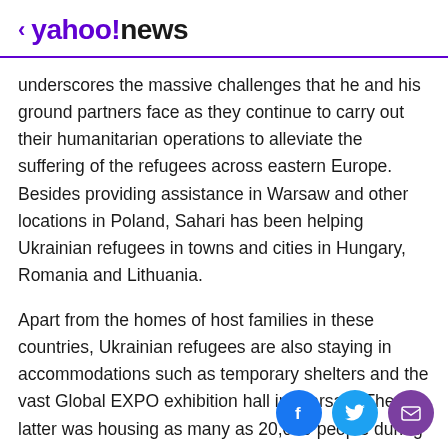< yahoo!news
underscores the massive challenges that he and his ground partners face as they continue to carry out their humanitarian operations to alleviate the suffering of the refugees across eastern Europe. Besides providing assistance in Warsaw and other locations in Poland, Sahari has been helping Ukrainian refugees in towns and cities in Hungary, Romania and Lithuania.
Apart from the homes of host families in these countries, Ukrainian refugees are also staying in accommodations such as temporary shelters and the vast Global EXPO exhibition hall in Warsaw. The latter was housing as many as 20,000 people during the peak of the refugee crisis, according to Sahari. His team has